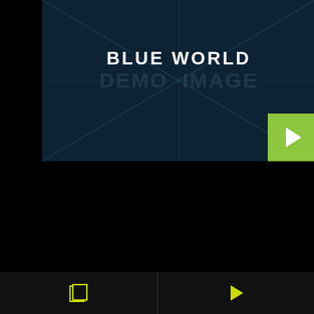[Figure (screenshot): Music app UI card with dark navy background, diagonal watermark 'DEMO IMAGE', title 'BLUE WORLD' in white centered text, and a lime green play button in bottom-right corner.]
BLUE WORLD
[Figure (screenshot): Second music app card with dark navy background, genre tags 'DUBSTEP' and 'POP' with lime green indicator bars, diagonal watermark 'DEMO IMAGE', and title 'SHE IS THE GIRL' in lime yellow text.]
DUBSTEP  POP
SHE IS THE GIRL
[Figure (screenshot): Bottom navigation bar with copy/stack icon on left and play icon on right, lime green colored icons on dark background.]